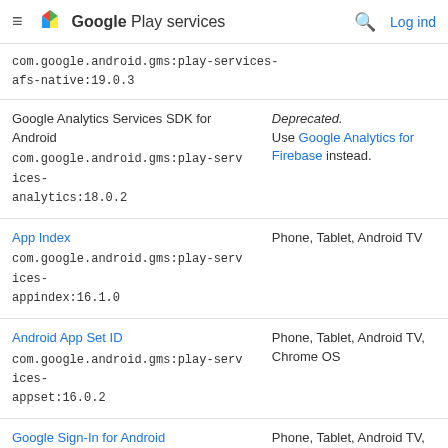Google Play services
| API / Artifact | Notes / Platforms |
| --- | --- |
| com.google.android.gms:play-services-afs-native:19.0.3 |  |
| Google Analytics Services SDK for Android
com.google.android.gms:play-services-analytics:18.0.2 | Deprecated. Use Google Analytics for Firebase instead. |
| App Index
com.google.android.gms:play-services-appindex:16.1.0 | Phone, Tablet, Android TV |
| Android App Set ID
com.google.android.gms:play-services-appset:16.0.2 | Phone, Tablet, Android TV, Chrome OS |
| Google Sign-In for Android
com.google.android.gms:play-services-auth:20.2.0 | Phone, Tablet, Android TV, Auto, Android Go, Chrome |